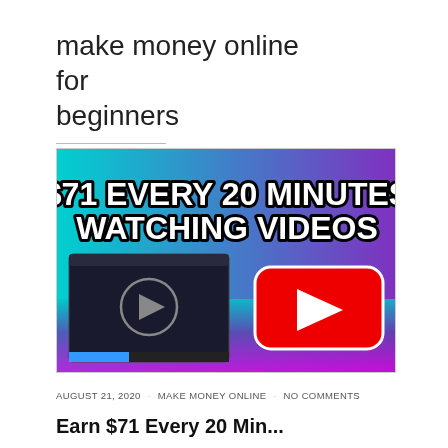make money online for beginners
[Figure (illustration): Thumbnail image with gradient background (teal to purple/magenta) showing bold white text '$71 EVERY 20 MINUTES WATCHING VIDEOS', a video player with play button on the left, and a YouTube-style red rounded rectangle with white play arrow on the right.]
AUGUST 21, 2020 · MAKE MONEY ONLINE · NO COMMENTS
Earn $71 Every 20 Min...